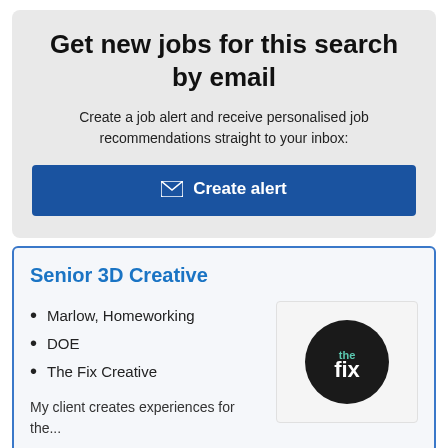Get new jobs for this search by email
Create a job alert and receive personalised job recommendations straight to your inbox:
✉ Create alert
Senior 3D Creative
Marlow, Homeworking
DOE
The Fix Creative
[Figure (logo): The Fix Creative company logo — dark circular badge with 'the fix' text in white and teal]
My client creates experiences for the...